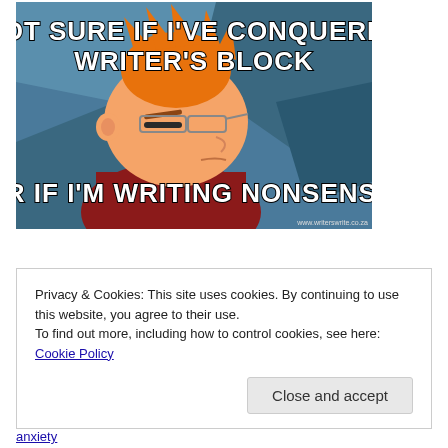[Figure (illustration): Futurama Fry meme: cartoon character squinting with orange hair and red jacket against blue background. Top text: 'NOT SURE IF I'VE CONQUERED WRITER'S BLOCK'. Bottom text: 'OR IF I'M WRITING NONSENSE.' Watermark: www.writerswrite.co.za]
Privacy & Cookies: This site uses cookies. By continuing to use this website, you agree to their use.
To find out more, including how to control cookies, see here: Cookie Policy
Close and accept
anxiety